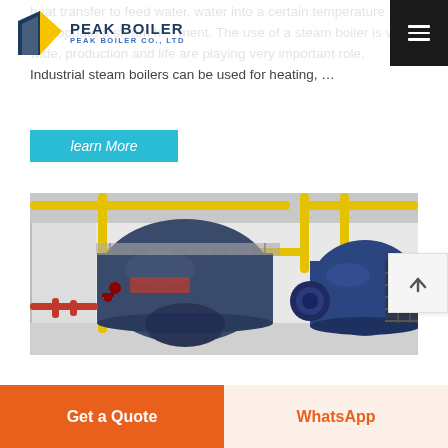PEAK BOILER - peak boiler co., ltd
heat transfer to feed water, water into a certain temperature appropriate a steam h... ment. The use of a steam boiler is very wide, production and life are playing very important role. Industrial steam boilers can be used for heating, …
learn More
[Figure (photo): Industrial steam boilers in a facility — two large blue cylindrical boilers with yellow pipe infrastructure, red lower pipes, metal grating platforms, and staircase.]
Get a Quote
WhatsApp